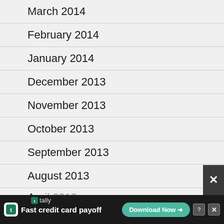March 2014
February 2014
January 2014
December 2013
November 2013
October 2013
September 2013
August 2013
July 2013
June 2013
May 2013
April 2013 (partial)
[Figure (screenshot): Advertisement banner for Tally app - Fast credit card payoff with Download Now button]